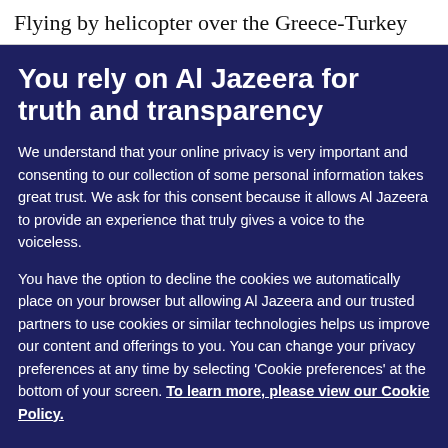Flying by helicopter over the Greece-Turkey
You rely on Al Jazeera for truth and transparency
We understand that your online privacy is very important and consenting to our collection of some personal information takes great trust. We ask for this consent because it allows Al Jazeera to provide an experience that truly gives a voice to the voiceless.
You have the option to decline the cookies we automatically place on your browser but allowing Al Jazeera and our trusted partners to use cookies or similar technologies helps us improve our content and offerings to you. You can change your privacy preferences at any time by selecting ‘Cookie preferences’ at the bottom of your screen. To learn more, please view our Cookie Policy.